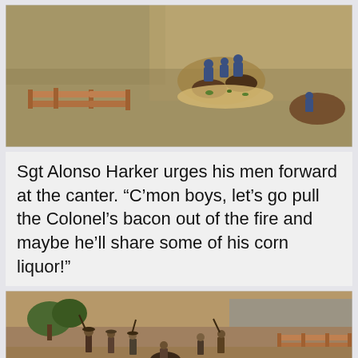[Figure (photo): Aerial/overhead view of miniature wargame figures — cavalry soldiers on horseback on a sandy/tan terrain base, with wooden fence terrain pieces in the lower left and more cavalry figures to the lower right.]
Sgt Alonso Harker urges his men forward at the canter. “C’mon boys, let’s go pull the Colonel’s bacon out of the fire and maybe he’ll share some of his corn liquor!”
[Figure (photo): Close-up view of miniature wargame figures — infantry and cavalry soldiers in a battle scene with wooden fence terrain, trees visible in background.]